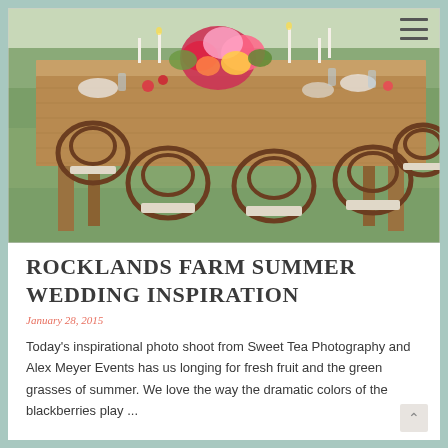[Figure (photo): Outdoor rustic farm table set with bentwood chairs, floral centerpieces, candles, and tableware on green grass at Rocklands Farm]
ROCKLANDS FARM SUMMER WEDDING INSPIRATION
January 28, 2015
Today's inspirational photo shoot from Sweet Tea Photography and Alex Meyer Events has us longing for fresh fruit and the green grasses of summer. We love the way the dramatic colors of the blackberries play ...